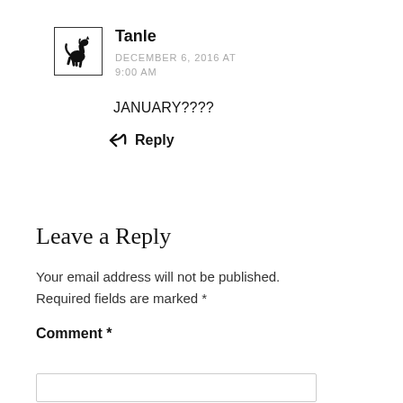[Figure (illustration): Avatar box with a black horse/rearing horse silhouette icon inside a square border]
Tanle
DECEMBER 6, 2016 AT 9:00 AM
JANUARY????
Reply
Leave a Reply
Your email address will not be published. Required fields are marked *
Comment *